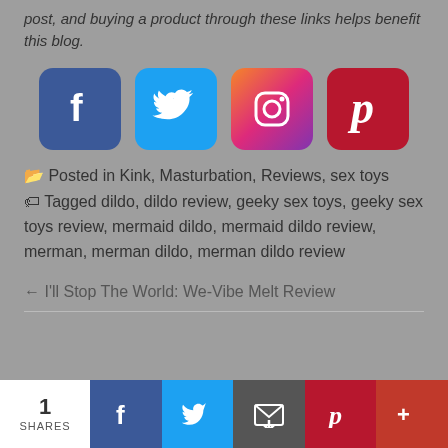post, and buying a product through these links helps benefit this blog.
[Figure (infographic): Four social media share icons: Facebook (dark blue), Twitter (light blue), Instagram (gradient purple/orange), Pinterest (dark red)]
Posted in Kink, Masturbation, Reviews, sex toys
Tagged dildo, dildo review, geeky sex toys, geeky sex toys review, mermaid dildo, mermaid dildo review, merman, merman dildo, merman dildo review
← I'll Stop The World: We-Vibe Melt Review
1 SHARES | Facebook | Twitter | Email | Pinterest | More